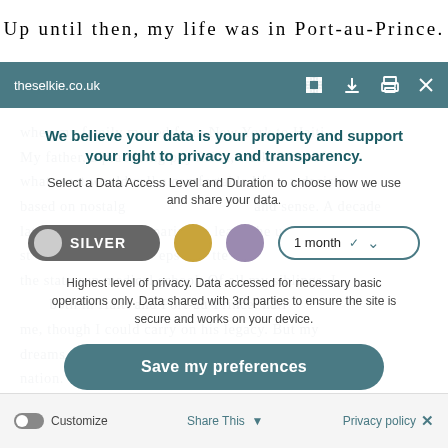Up until then, my life was in Port-au-Prince.
theselkie.co.uk
when my family moved from New York to Haiti. My father, a practicing physician, walked out of what most would call a comfortable life – a decision based on nostalgia and practical sense. A decade later, when I was preparing to leave, he urged me to stay – steps a better … the state-run medical school. Of all my siblings, I … both in Haiti and Port-au-Prince … me, thought I could carry on his legacy. But my dreams were not limited to an embattled Caribbean nation. Th… to be my last in H… US and catch up with the rest of the world. But the bus was like a time machine, taking me back ages.
We believe your data is your property and support your right to privacy and transparency.
Select a Data Access Level and Duration to choose how we use and share your data.
SILVER
1 month
Highest level of privacy. Data accessed for necessary basic operations only. Data shared with 3rd parties to ensure the site is secure and works on your device.
Save my preferences
Customize   Share This   Privacy policy